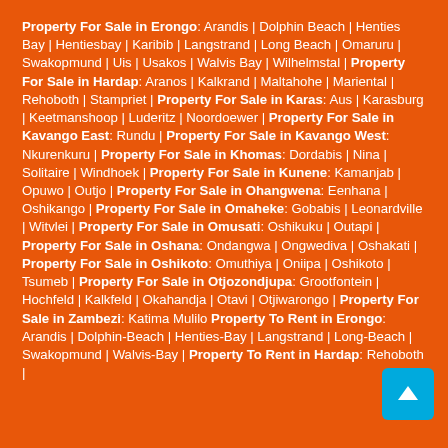Property For Sale in Erongo: Arandis | Dolphin Beach | Henties Bay | Hentiesbay | Karibib | Langstrand | Long Beach | Omaruru | Swakopmund | Uis | Usakos | Walvis Bay | Wilhelmstal | Property For Sale in Hardap: Aranos | Kalkrand | Maltahohe | Mariental | Rehoboth | Stampriet | Property For Sale in Karas: Aus | Karasburg | Keetmanshoop | Luderitz | Noordoewer | Property For Sale in Kavango East: Rundu | Property For Sale in Kavango West: Nkurenkuru | Property For Sale in Khomas: Dordabis | Nina | Solitaire | Windhoek | Property For Sale in Kunene: Kamanjab | Opuwo | Outjo | Property For Sale in Ohangwena: Eenhana | Oshikango | Property For Sale in Omaheke: Gobabis | Leonardville | Witvlei | Property For Sale in Omusati: Oshikuku | Outapi | Property For Sale in Oshana: Ondangwa | Ongwediva | Oshakati | Property For Sale in Oshikoto: Omuthiya | Oniipa | Oshikoto | Tsumeb | Property For Sale in Otjozondjupa: Grootfontein | Hochfeld | Kalkfeld | Okahandja | Otavi | Otjiwarongo | Property For Sale in Zambezi: Katima Mulilo Property To Rent in Erongo: Arandis | Dolphin-Beach | Henties-Bay | Langstrand | Long-Beach | Swakopmund | Walvis-Bay | Property To Rent in Hardap: Rehoboth |